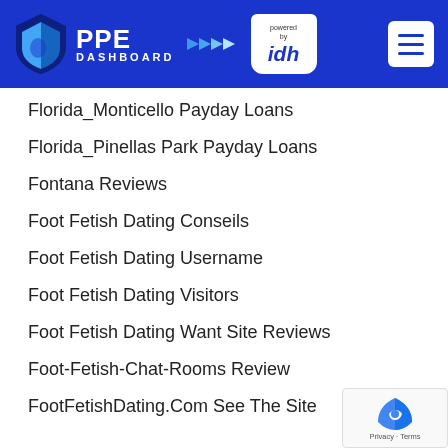PPE DASHBOARD powered by idh
Florida_Monticello Payday Loans
Florida_Pinellas Park Payday Loans
Fontana Reviews
Foot Fetish Dating Conseils
Foot Fetish Dating Username
Foot Fetish Dating Visitors
Foot Fetish Dating Want Site Reviews
Foot-Fetish-Chat-Rooms Review
FootFetishDating.Com See The Site